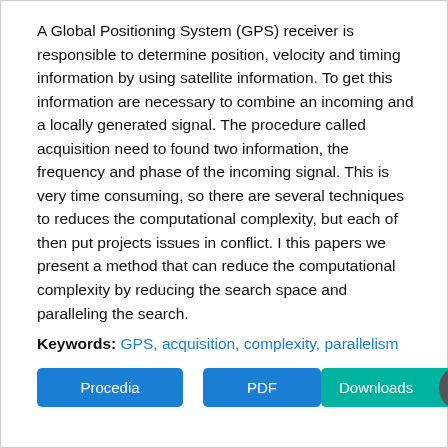A Global Positioning System (GPS) receiver is responsible to determine position, velocity and timing information by using satellite information. To get this information are necessary to combine an incoming and a locally generated signal. The procedure called acquisition need to found two information, the frequency and phase of the incoming signal. This is very time consuming, so there are several techniques to reduces the computational complexity, but each of then put projects issues in conflict. I this papers we present a method that can reduce the computational complexity by reducing the search space and paralleling the search.
Keywords: GPS, acquisition, complexity, parallelism